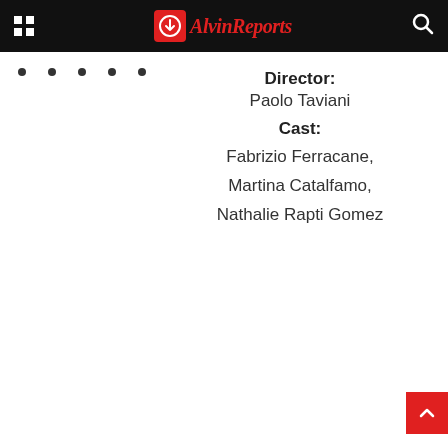AlvinReports
Director: Paolo Taviani
Cast: Fabrizio Ferracane, Martina Catalfamo, Nathalie Rapti Gomez